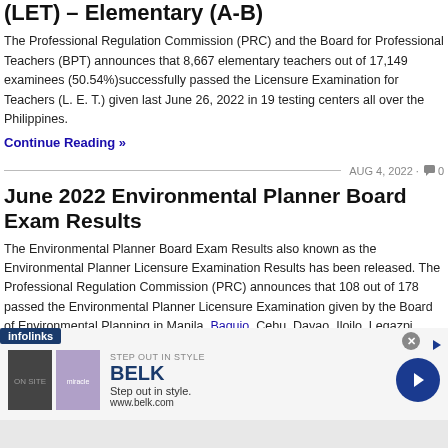(LET) – Elementary (A-B)
The Professional Regulation Commission (PRC) and the Board for Professional Teachers (BPT) announces that 8,667 elementary teachers out of 17,149 examinees (50.54%)successfully passed the Licensure Examination for Teachers (L. E. T.) given last June 26, 2022 in 19 testing centers all over the Philippines.
Continue Reading »
AUG 4, 2022 · 0
June 2022 Environmental Planner Board Exam Results
The Environmental Planner Board Exam Results also known as the Environmental Planner Licensure Examination Results has been released. The Professional Regulation Commission (PRC) announces that 108 out of 178 passed the Environmental Planner Licensure Examination given by the Board of Environmental Planning in Manila, Baguio, Cebu, Davao, Iloilo, Legazpi, Lucena last July 2022.
[Figure (other): Infolinks advertisement banner for BELK clothing store, showing two fashion images, BELK brand name, tagline 'Step out in style.', website www.belk.com, and a blue circular arrow button]